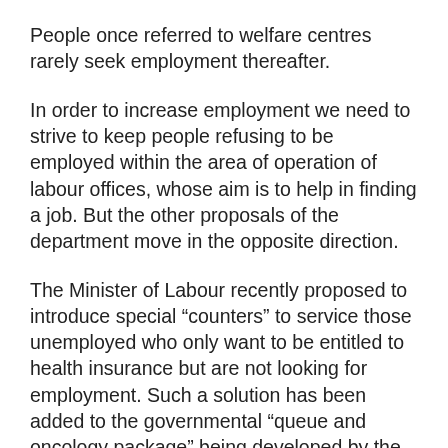People once referred to welfare centres rarely seek employment thereafter.
In order to increase employment we need to strive to keep people refusing to be employed within the area of operation of labour offices, whose aim is to help in finding a job. But the other proposals of the department move in the opposite direction.
The Minister of Labour recently proposed to introduce special “counters” to service those unemployed who only want to be entitled to health insurance but are not looking for employment. Such a solution has been added to the governmental “queue and oncology package” being developed by the health department.
[Figure (infographic): Social sharing buttons: Twitter (blue), LinkedIn (dark blue), Email (grey), overlaid on the text below]
The change in the health insurance contribution...